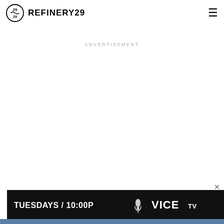REFINERY29
ADVERTISEMENT
[Figure (screenshot): VICE TV advertisement banner showing 'TUESDAYS / 10:00P' with a microphone icon and VICE TV logo on black background]